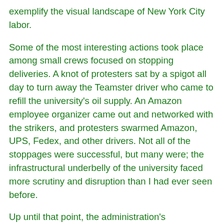exemplify the visual landscape of New York City labor.
Some of the most interesting actions took place among small crews focused on stopping deliveries. A knot of protesters sat by a spigot all day to turn away the Teamster driver who came to refill the university's oil supply. An Amazon employee organizer came out and networked with the strikers, and protesters swarmed Amazon, UPS, Fedex, and other drivers. Not all of the stoppages were successful, but many were; the infrastructural underbelly of the university faced more scrutiny and disruption than I had ever seen before.
Up until that point, the administration's communications about the strike had been relatively